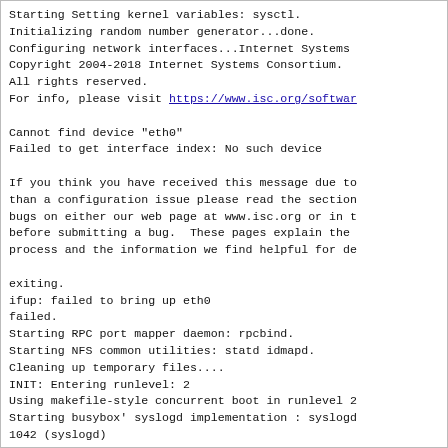Starting Setting kernel variables: sysctl.
Initializing random number generator...done.
Configuring network interfaces...Internet Systems
Copyright 2004-2018 Internet Systems Consortium.
All rights reserved.
For info, please visit https://www.isc.org/softwar

Cannot find device "eth0"
Failed to get interface index: No such device

If you think you have received this message due to
than a configuration issue please read the section
bugs on either our web page at www.isc.org or in t
before submitting a bug.  These pages explain the
process and the information we find helpful for de

exiting.
ifup: failed to bring up eth0
failed.
Starting RPC port mapper daemon: rpcbind.
Starting NFS common utilities: statd idmapd.
Cleaning up temporary files....
INIT: Entering runlevel: 2
Using makefile-style concurrent boot in runlevel 2
Starting busybox' syslogd implementation : syslogd
1042 (syslogd)
.
Starting system message bus: dbus.
Starting Avahi mDNS/DNS-SD Daemon: avahi-daemon.
Starting NFS common utilities: statd idmapd.